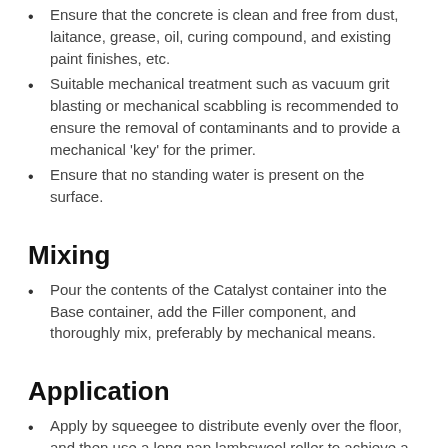Ensure that the concrete is clean and free from dust, laitance, grease, oil, curing compound, and existing paint finishes, etc.
Suitable mechanical treatment such as vacuum grit blasting or mechanical scabbling is recommended to ensure the removal of contaminants and to provide a mechanical 'key' for the primer.
Ensure that no standing water is present on the surface.
Mixing
Pour the contents of the Catalyst container into the Base container, add the Filler component, and thoroughly mix, preferably by mechanical means.
Application
Apply by squeegee to distribute evenly over the floor, and then use a long nap lambswool roller to achieve a nominal application rate of 0.4-0.8kg/m², depending on substrate absorbency.
Allow to cure for a minimum of 30 minutes prior to